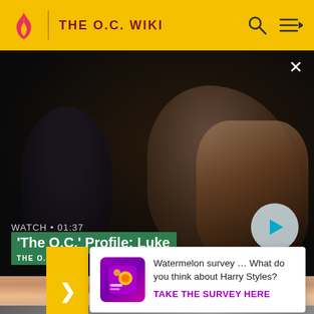THE O.C. WIKI
[Figure (screenshot): Video player showing a scene from The O.C. with two people in dim lighting. Overlay shows WATCH • 01:37 and title 'The O.C.' Profile: Luke with a play button on the right.]
[Figure (screenshot): Thumbnail strip showing partial images of faces/scenes from The O.C.]
Watermelon survey … What do you think about Harry Styles? TAKE THE SURVEY HERE